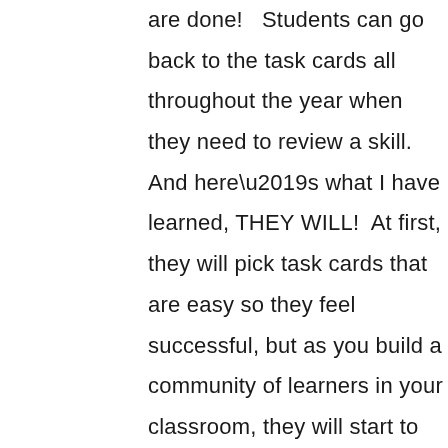are done!  Students can go back to the task cards all throughout the year when they need to review a skill. And here’s what I have learned, THEY WILL!  At first, they will pick task cards that are easy so they feel successful, but as you build a community of learners in your classroom, they will start to challenge themselves with topics